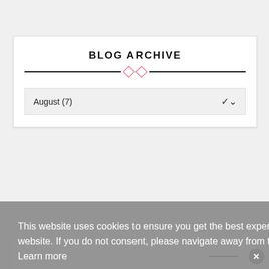BLOG ARCHIVE
August (7)
This website uses cookies to ensure you get the best experience on our website. If you do not consent, please navigate away from the website.  Learn more
I get it & consent to cookies